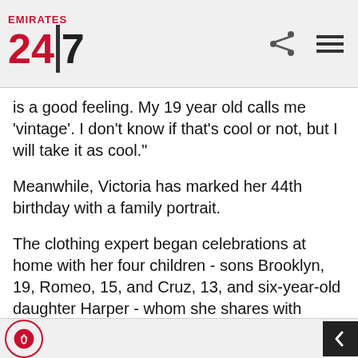Emirates 24|7
is a good feeling. My 19 year old calls me 'vintage'. I don't know if that's cool or not, but I will take it as cool."
Meanwhile, Victoria has marked her 44th birthday with a family portrait.
The clothing expert began celebrations at home with her four children - sons Brooklyn, 19, Romeo, 15, and Cruz, 13, and six-year-old daughter Harper - whom she shares with husband David Beckham, 42.
Victoria - who reached her new age on April 17 - tioned the photo on Instagram: "Birthday eve